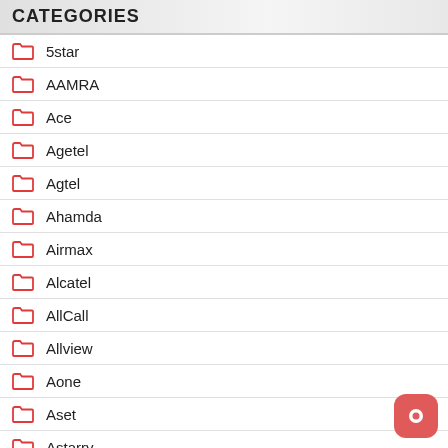CATEGORIES
5star
AAMRA
Ace
Agetel
Agtel
Ahamda
Airmax
Alcatel
AllCall
Allview
Aone
Aset
Astarry
Asus Clone